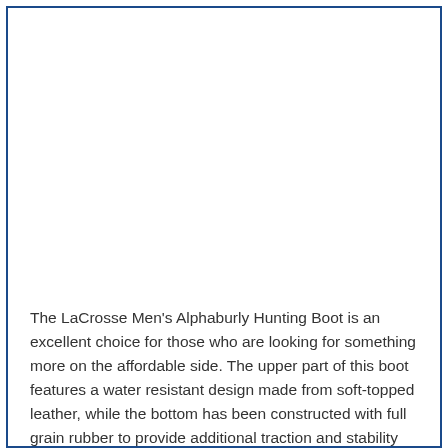[Figure (photo): Large blank/white image area at the top of the page (product image placeholder)]
The LaCrosse Men's Alphaburly Hunting Boot is an excellent choice for those who are looking for something more on the affordable side. The upper part of this boot features a water resistant design made from soft-topped leather, while the bottom has been constructed with full grain rubber to provide additional traction and stability when walking through wet terrain or crossing streams/rivers.